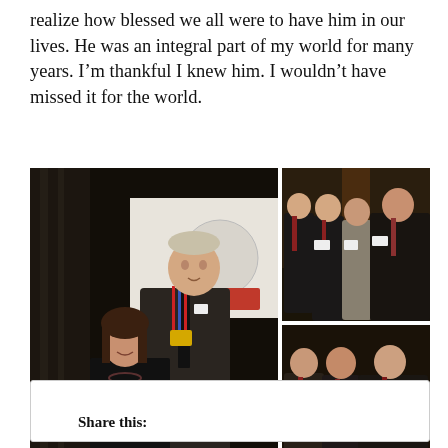realize how blessed we all were to have him in our lives. He was an integral part of my world for many years. I'm thankful I knew him. I wouldn't have missed it for the world.
[Figure (photo): Three photos: left large photo shows a woman and an elderly man wearing a medal at a formal event; top right photo shows four men in suits posing together; bottom right photo shows three men in suits posing together.]
Share this: